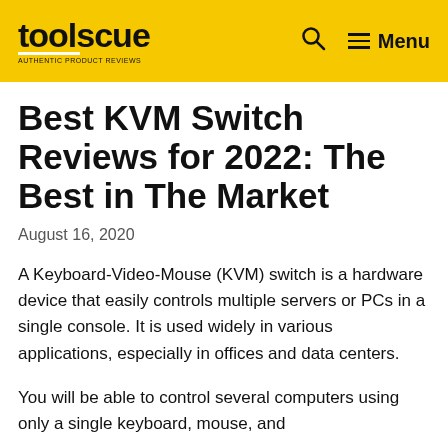toolscue — authentic product reviews | Search | Menu
Best KVM Switch Reviews for 2022: The Best in The Market
August 16, 2020
A Keyboard-Video-Mouse (KVM) switch is a hardware device that easily controls multiple servers or PCs in a single console. It is used widely in various applications, especially in offices and data centers.
You will be able to control several computers using only a single keyboard, mouse, and monitor. With this, you'll be able to…